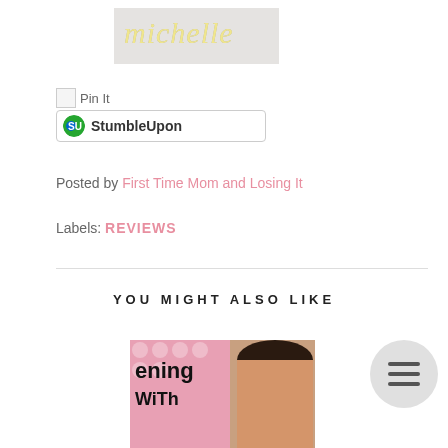[Figure (logo): Blog logo with stylized text 'michelle' overlapping a grey rectangle background, yellow italic script on top]
[Figure (other): Pin It button with small broken image icon and 'Pin It' text]
[Figure (other): StumbleUpon share button with SU logo icon and bold text 'StumbleUpon']
Posted by First Time Mom and Losing It
Labels: REVIEWS
YOU MIGHT ALSO LIKE
[Figure (photo): Partial photo of a woman with dark hair on a pink polka-dot background, with partial text 'ening with']